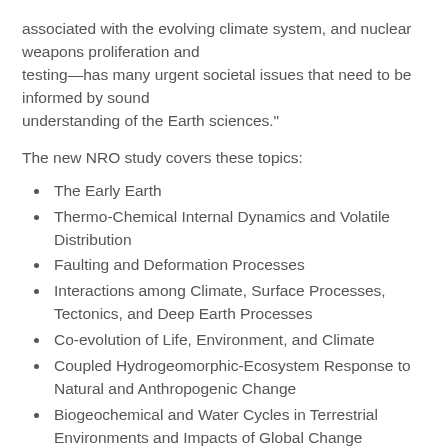associated with the evolving climate system, and nuclear weapons proliferation and testing—has many urgent societal issues that need to be informed by sound understanding of the Earth sciences."
The new NRO study covers these topics:
The Early Earth
Thermo-Chemical Internal Dynamics and Volatile Distribution
Faulting and Deformation Processes
Interactions among Climate, Surface Processes, Tectonics, and Deep Earth Processes
Co-evolution of Life, Environment, and Climate
Coupled Hydrogeomorphic-Ecosystem Response to Natural and Anthropogenic Change
Biogeochemical and Water Cycles in Terrestrial Environments and Impacts of Global Change